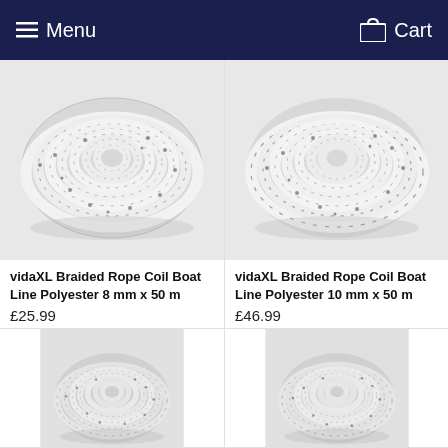Menu | Cart
[Figure (photo): Coiled white braided polyester rope with dark flecks, top-left product image]
vidaXL Braided Rope Coil Boat Line Polyester 8 mm x 50 m
£25.99
[Figure (photo): Coiled white braided polyester rope with dark flecks, top-right product image]
vidaXL Braided Rope Coil Boat Line Polyester 10 mm x 50 m
£46.99
[Figure (photo): Coiled white braided polyester rope with dark flecks, bottom-left product image (partially visible)]
[Figure (photo): Coiled white braided polyester rope with dark flecks, bottom-right product image (partially visible)]